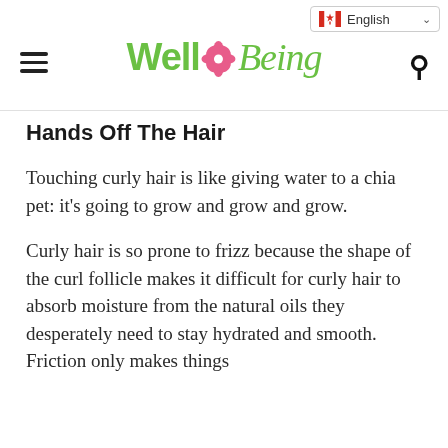WellBeing — English (Canadian)
Hands Off The Hair
Touching curly hair is like giving water to a chia pet: it's going to grow and grow and grow.
Curly hair is so prone to frizz because the shape of the curl follicle makes it difficult for curly hair to absorb moisture from the natural oils they desperately need to stay hydrated and smooth. Friction only makes things